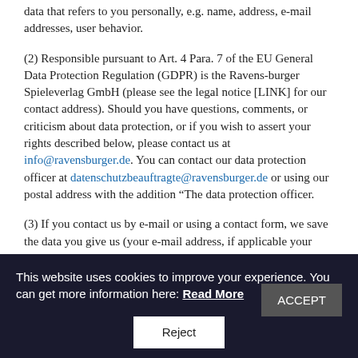data that refers to you personally, e.g. name, address, e-mail addresses, user behavior.
(2) Responsible pursuant to Art. 4 Para. 7 of the EU General Data Protection Regulation (GDPR) is the Ravens-burger Spieleverlag GmbH (please see the legal notice [LINK] for our contact address). Should you have questions, comments, or criticism about data protection, or if you wish to assert your rights described below, please contact us at info@ravensburger.de. You can contact our data protection officer at datenschutzbeauftragte@ravensburger.de or using our postal address with the addition “The data protection officer.
(3) If you contact us by e-mail or using a contact form, we save the data you give us (your e-mail address, if applicable your name, and your phone number) so that we can answer your questions. We erase the data collected in this context when it
This website uses cookies to improve your experience. You can get more information here: Read More  ACCEPT
Reject